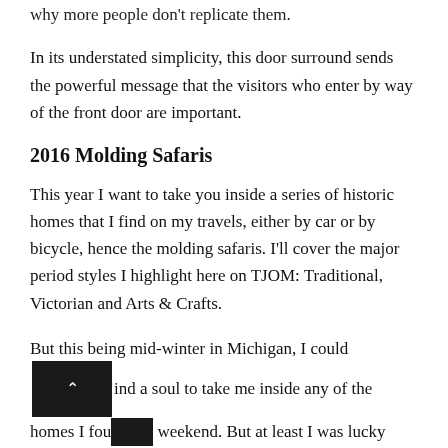why more people don't replicate them.
In its understated simplicity, this door surround sends the powerful message that the visitors who enter by way of the front door are important.
2016 Molding Safaris
This year I want to take you inside a series of historic homes that I find on my travels, either by car or by bicycle, hence the molding safaris. I'll cover the major period styles I highlight here on TJOM: Traditional, Victorian and Arts & Crafts.
But this being mid-winter in Michigan, I could [blocked] ind a soul to take me inside any of the homes I fou[blocked] weekend. But at least I was lucky enough to find one open pub in Lexington where I was served a tasty hot